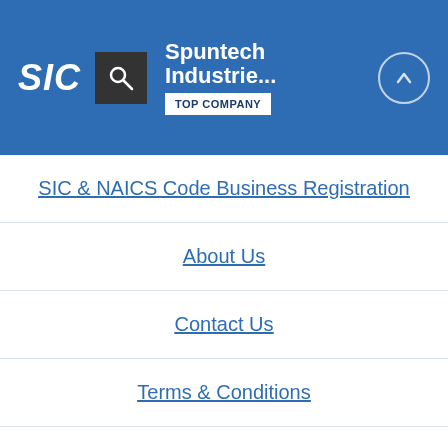SIC | Spuntech Industrie... | TOP COMPANY
SIC & NAICS Code Business Registration
About Us
Contact Us
Terms & Conditions
Privacy Policy
Blog